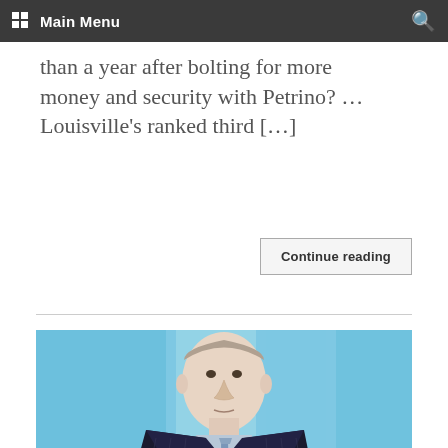Main Menu
than a year after bolting for more money and security with Petrino? … Louisville's ranked third […]
Continue reading
[Figure (photo): Professional headshot of a man in a dark pinstripe suit with a blue tie, photographed against a blurred blue background.]